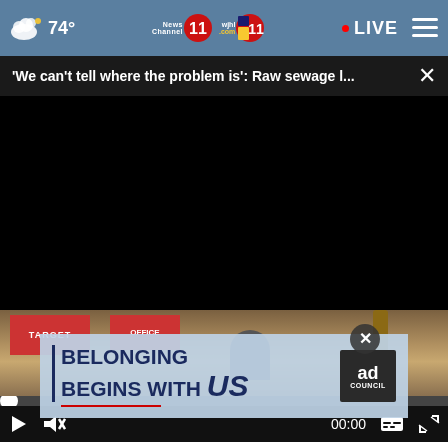74° | News Channel 11 | wjhl 11 | LIVE
'We can't tell where the problem is': Raw sewage l...
[Figure (screenshot): Black video player area with video controls: play button, mute button, time display 00:00, caption button, fullscreen button, and a progress bar with a white dot at position 0]
[Figure (screenshot): Street scene thumbnail visible below video player, partially obscured by advertisement overlay]
[Figure (advertisement): Ad Council advertisement: BELONGING BEGINS WITH US, with red underline, and Ad Council logo badge]